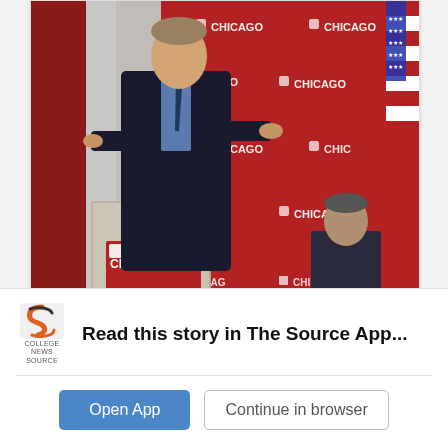[Figure (photo): A man in a suit speaks at a University of Chicago podium with microphone; a red backdrop shows University of Chicago logos repeated; another man seated in background; American flag at right edge.]
(University of Chicago)
Two Cabinet officials called for universities to follow U of C models and invest more resources to reforming
[Figure (logo): College News Source app logo — stylized S shape in orange/dark with text COLLEGE NEWS SOURCE below]
Read this story in The Source App...
Open App
Continue in browser